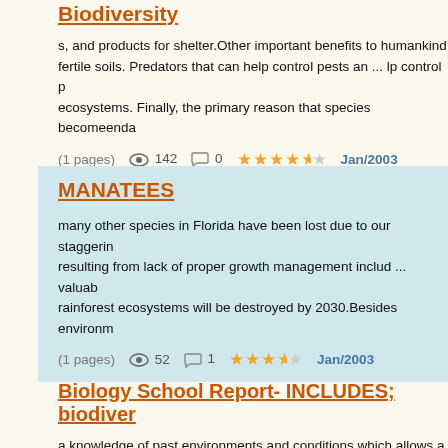Biodiversity
s, and products for shelter.Other important benefits to humankind fertile soils. Predators that can help control pests an ... lp control p ecosystems. Finally, the primary reason that species becomeenda
(1 pages)   142   0   Jan/2003
MANATEES
many other species in Florida have been lost due to our staggerin resulting from lack of proper growth management includ ... valuab rainforest ecosystems will be destroyed by 2030.Besides environm
(1 pages)   52   1   Jan/2003
Biology School Report- INCLUDES; biodiver
a knowledge of past environments and conditions which allows a impact in present environments which leads to harmful ...
(2 pages)   53   0   Aug/2003